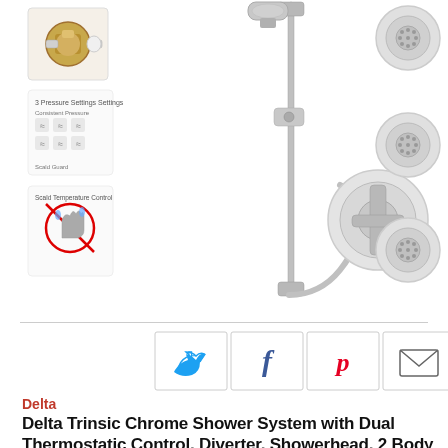[Figure (photo): Product photo collage of Delta Trinsic Chrome Shower System showing valve rough-in, pressure settings diagram, safety warning diagram, handheld shower on slide bar, thermostatic control knob, dual function valve with cross handle, body sprays, and diverter components]
[Figure (infographic): Social share buttons row: Twitter (blue bird icon), Facebook (blue f), Pinterest (red p), Email (envelope icon)]
Delta
Delta Trinsic Chrome Shower System with Dual Thermostatic Control, Diverter, Showerhead, 2 Body Sprays, and Hand